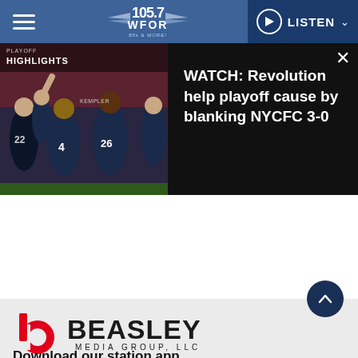105.7 WFOR | LISTEN
[Figure (screenshot): Soccer players in dark blue uniforms on field, with playoff highlights overlay]
WATCH: Revolution help playoff cause by blanking NYCFC 3-0
[Figure (logo): Beasley Media Group LLC logo - red b icon with black BEASLEY MEDIA GROUP, LLC text]
Download our station app